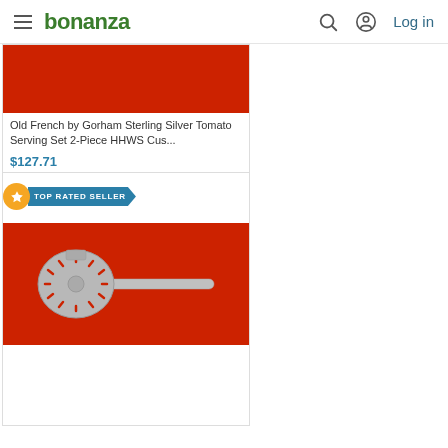bonanza | Log in
[Figure (photo): Cropped product image showing red background - Old French by Gorham Sterling Silver Tomato Serving Set]
Old French by Gorham Sterling Silver Tomato Serving Set 2-Piece HHWS Cus...
$127.71
[Figure (photo): Product listing with TOP RATED SELLER badge showing a silver slotted spoon/tomato server on red background]